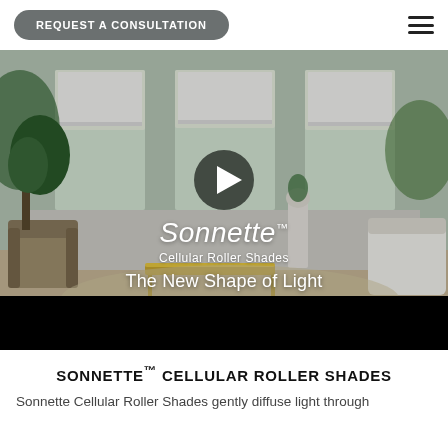REQUEST A CONSULTATION
[Figure (screenshot): Video thumbnail of a living room with white cellular roller shades on three windows. A play button is centered on the image. Text overlays read: Sonnette™, Cellular Roller Shades, The New Shape of Light. Bottom of video area is a black bar.]
SONNETTE™ CELLULAR ROLLER SHADES
Sonnette Cellular Roller Shades gently diffuse light through